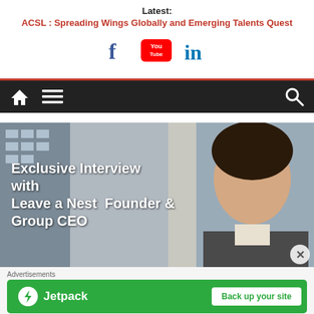Latest:
ACSL : Spreading Wings Globally and Emerging Talents Quest
[Figure (other): Social media icons: Facebook, YouTube, LinkedIn]
[Figure (screenshot): Website navigation bar with dark background, home icon, menu icon, and search icon]
[Figure (photo): Exclusive Interview with Leave a Nest Founder & Group CEO - photo of an Asian man in a suit with text overlay]
Advertisements
[Figure (other): Jetpack advertisement banner - Back up your site]